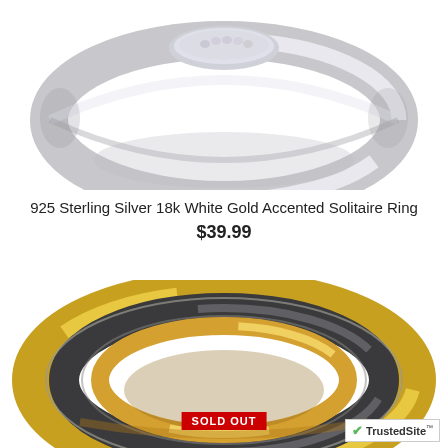[Figure (photo): 925 Sterling Silver ring with white gold accents and diamond stones, photographed from above on white background]
925 Sterling Silver 18k White Gold Accented Solitaire Ring
$39.99
[Figure (photo): Two-tone ring with dark tungsten/titanium center and gold-colored edges, photographed on white background with SOLD OUT badge]
SOLD OUT
[Figure (logo): TrustedSite trust badge with green checkmark]